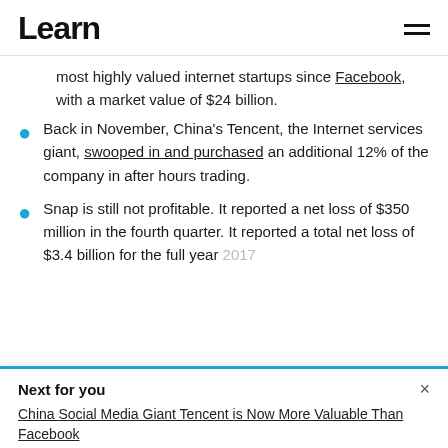Learn
most highly valued internet startups since Facebook, with a market value of $24 billion.
Back in November, China's Tencent, the Internet services giant, swooped in and purchased an additional 12% of the company in after hours trading.
Snap is still not profitable. It reported a net loss of $350 million in the fourth quarter. It reported a total net loss of $3.4 billion for the full year
Next for you
China Social Media Giant Tencent is Now More Valuable Than Facebook